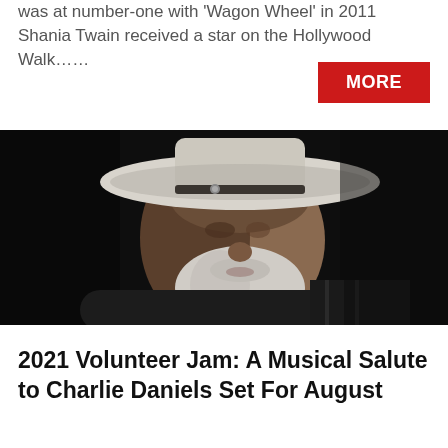was at number-one with 'Wagon Wheel' in 2011 Shania Twain received a star on the Hollywood Walk……
[Figure (photo): Portrait photo of an older man with a large white cowboy hat and a white beard, looking slightly to the right, dark background]
2021 Volunteer Jam: A Musical Salute to Charlie Daniels Set For August